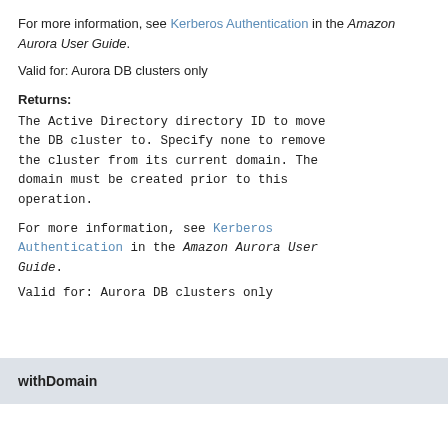For more information, see Kerberos Authentication in the Amazon Aurora User Guide.
Valid for: Aurora DB clusters only
Returns:
The Active Directory directory ID to move the DB cluster to. Specify none to remove the cluster from its current domain. The domain must be created prior to this operation.
For more information, see Kerberos Authentication in the Amazon Aurora User Guide.
Valid for: Aurora DB clusters only
withDomain
public ModifyDBClusterRequest withDomain(String d
The Active Directory directory ID to move...